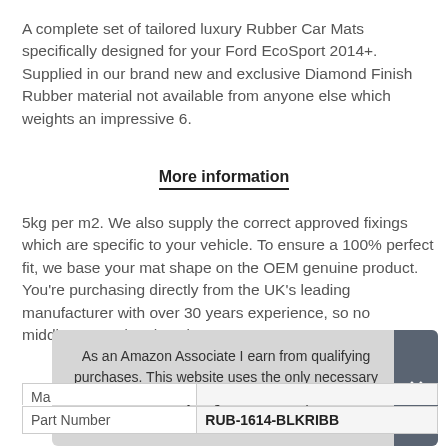A complete set of tailored luxury Rubber Car Mats specifically designed for your Ford EcoSport 2014+. Supplied in our brand new and exclusive Diamond Finish Rubber material not available from anyone else which weights an impressive 6.
More information
5kg per m2. We also supply the correct approved fixings which are specific to your vehicle. To ensure a 100% perfect fit, we base your mat shape on the OEM genuine product. You're purchasing directly from the UK's leading manufacturer with over 30 years experience, so no middlemen and no hassle.
As an Amazon Associate I earn from qualifying purchases. This website uses the only necessary cookies to ensure you get the best experience on our website. More information
| Part Number | RUB-1614-BLKRIBB |